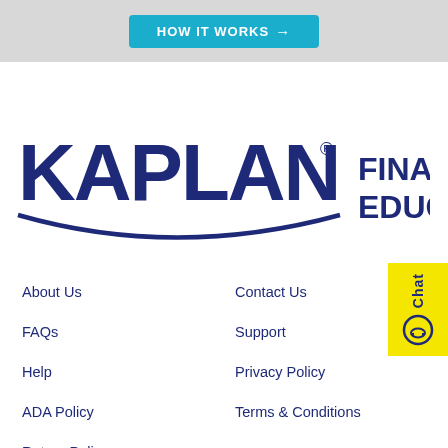[Figure (other): Teal button partially visible at top of page with arrow]
[Figure (logo): Kaplan Financial Education logo — dark navy KAPLAN text with arc underline and FINANCIAL EDUCATION text to the right]
About Us
Contact Us
FAQs
Support
Help
Privacy Policy
ADA Policy
Terms & Conditions
Return Policy